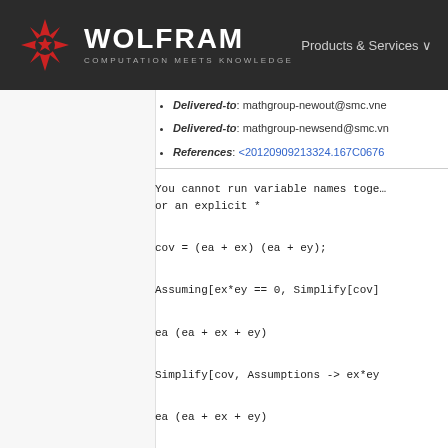WOLFRAM — COMPUTATION MEETS KNOWLEDGE | Products & Services
Delivered-to: mathgroup-newout@smc.vne
Delivered-to: mathgroup-newsend@smc.vn
References: <20120909213324.167C0676
You cannot run variable names together or an explicit *
cov = (ea + ex) (ea + ey);
Assuming[ex*ey == 0, Simplify[cov]
ea (ea + ex + ey)
Simplify[cov, Assumptions -> ex*ey
ea (ea + ex + ey)
Or more compactly,